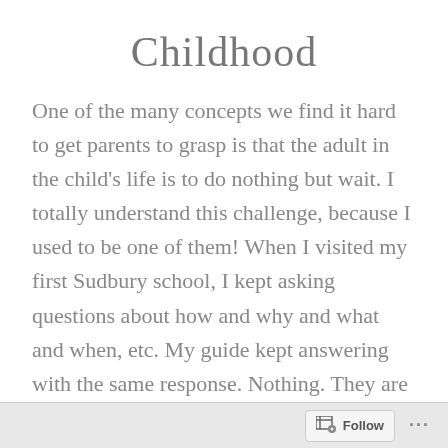Childhood
One of the many concepts we find it hard to get parents to grasp is that the adult in the child’s life is to do nothing but wait. I totally understand this challenge, because I used to be one of them! When I visited my first Sudbury school, I kept asking questions about how and why and what and when, etc. My guide kept answering with the same response. Nothing. They are just free to do as they wish and you do nothing. Even though
Follow •••